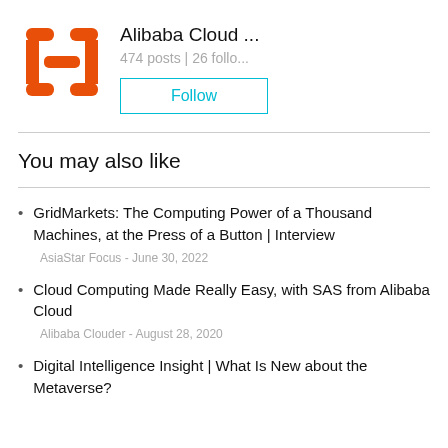[Figure (logo): Alibaba Cloud orange bracket logo icon]
Alibaba Cloud ...
474 posts | 26 follo...
Follow
You may also like
GridMarkets: The Computing Power of a Thousand Machines, at the Press of a Button | Interview
AsiaStar Focus - June 30, 2022
Cloud Computing Made Really Easy, with SAS from Alibaba Cloud
Alibaba Clouder - August 28, 2020
Digital Intelligence Insight | What Is New about the Metaverse?